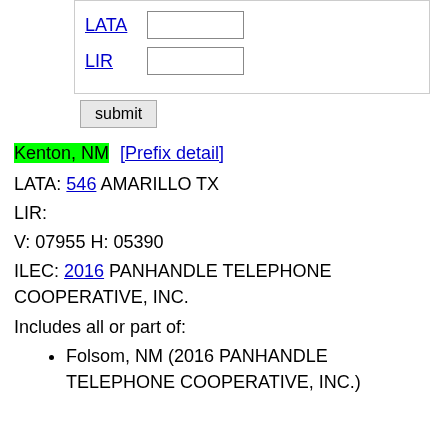LATA [input] LIR [input]
submit
Kenton, NM [Prefix detail]
LATA: 546 AMARILLO TX
LIR:
V: 07955 H: 05390
ILEC: 2016 PANHANDLE TELEPHONE COOPERATIVE, INC.
Includes all or part of:
Folsom, NM (2016 PANHANDLE TELEPHONE COOPERATIVE, INC.)